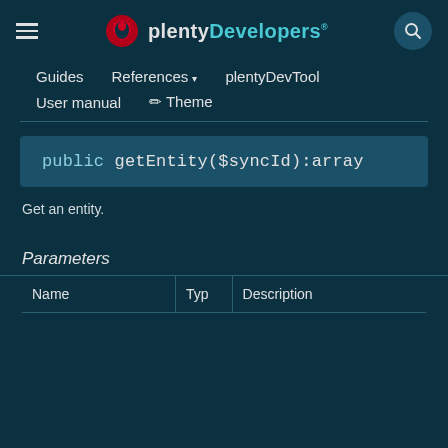plentyDevelopers
Guides   References   plentyDevTool
User manual   Theme
public getEntity($syncId):array
Get an entity.
Parameters
| Name | Typ | Description |
| --- | --- | --- |